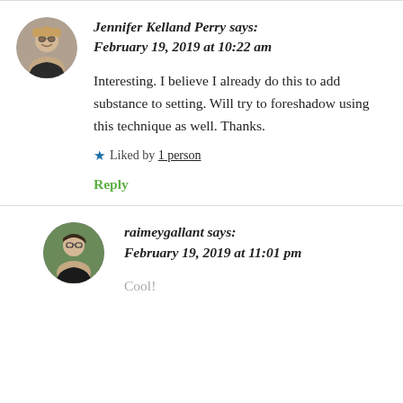Jennifer Kelland Perry says:
February 19, 2019 at 10:22 am
Interesting. I believe I already do this to add substance to setting. Will try to foreshadow using this technique as well. Thanks.
★ Liked by 1 person
Reply
raimeygallant says:
February 19, 2019 at 11:01 pm
Cool!